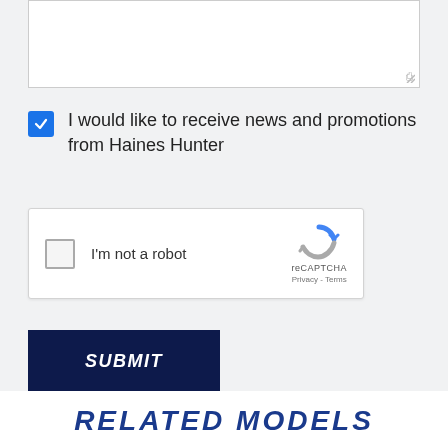[Figure (screenshot): Text input/textarea field with white background and resize handle at bottom right corner]
I would like to receive news and promotions from Haines Hunter
[Figure (screenshot): reCAPTCHA widget with checkbox labeled 'I'm not a robot', reCAPTCHA logo, Privacy and Terms links]
SUBMIT
RELATED MODELS